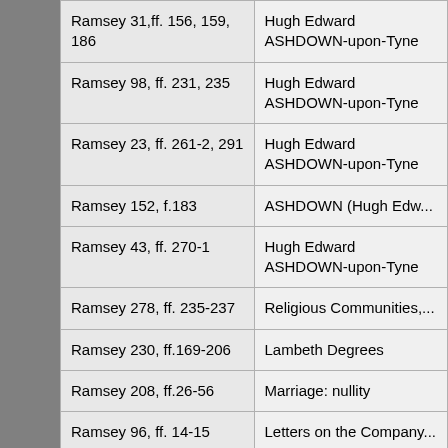| Reference | Subject/Name |
| --- | --- |
| Ramsey 31,ff. 156, 159, 186 | Hugh Edward ASHDOWN-upon-Tyne |
| Ramsey 98, ff. 231, 235 | Hugh Edward ASHDOWN-upon-Tyne |
| Ramsey 23, ff. 261-2, 291 | Hugh Edward ASHDOWN-upon-Tyne |
| Ramsey 152, f.183 | ASHDOWN (Hugh Edw... |
| Ramsey 43, ff. 270-1 | Hugh Edward ASHDOWN-upon-Tyne |
| Ramsey 278, ff. 235-237 | Religious Communities,... |
| Ramsey 230, ff.169-206 | Lambeth Degrees |
| Ramsey 208, ff.26-56 | Marriage: nullity |
| Ramsey 96, ff. 14-15 | Letters on the Company... |
| Ramsey 245, ff. |  |